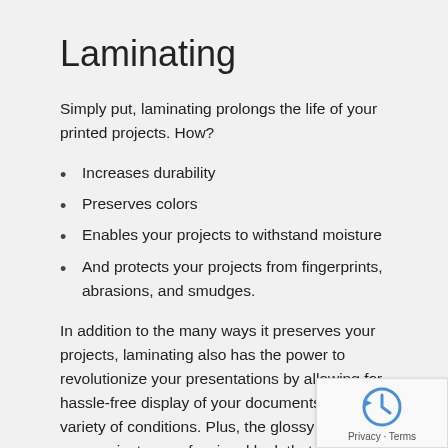Laminating
Simply put, laminating prolongs the life of your printed projects. How?
Increases durability
Preserves colors
Enables your projects to withstand moisture
And protects your projects from fingerprints, abrasions, and smudges.
In addition to the many ways it preserves your projects, laminating also has the power to revolutionize your presentations by allowing for hassle-free display of your documents under a variety of conditions. Plus, the glossy finish gives your projects a professional look that you can be proud of.
Next time you want to add a little something extra to your